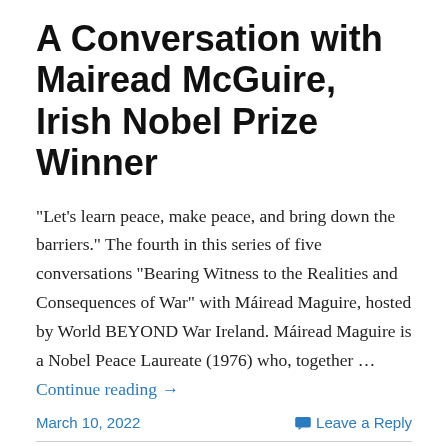A Conversation with Mairead McGuire, Irish Nobel Prize Winner
"Let's learn peace, make peace, and bring down the barriers." The fourth in this series of five conversations "Bearing Witness to the Realities and Consequences of War" with Máiread Maguire, hosted by World BEYOND War Ireland. Máiread Maguire is a Nobel Peace Laureate (1976) who, together … Continue reading →
March 10, 2022    Leave a Reply
FEATURED
Chris Hedges: Worthy and Unworthy Victims